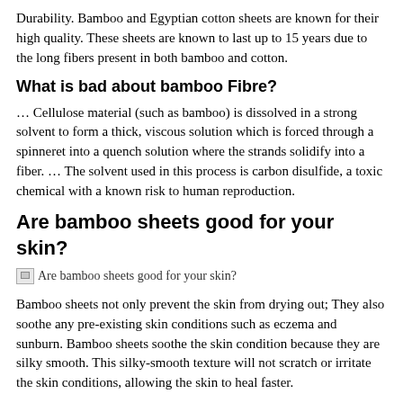Durability. Bamboo and Egyptian cotton sheets are known for their high quality. These sheets are known to last up to 15 years due to the long fibers present in both bamboo and cotton.
What is bad about bamboo Fibre?
… Cellulose material (such as bamboo) is dissolved in a strong solvent to form a thick, viscous solution which is forced through a spinneret into a quench solution where the strands solidify into a fiber. … The solvent used in this process is carbon disulfide, a toxic chemical with a known risk to human reproduction.
Are bamboo sheets good for your skin?
[Figure (photo): Broken image placeholder with alt text: Are bamboo sheets good for your skin?]
Bamboo sheets not only prevent the skin from drying out; They also soothe any pre-existing skin conditions such as eczema and sunburn. Bamboo sheets soothe the skin condition because they are silky smooth. This silky-smooth texture will not scratch or irritate the skin conditions, allowing the skin to heal faster.
Are bamboo sheets bad for your hair?